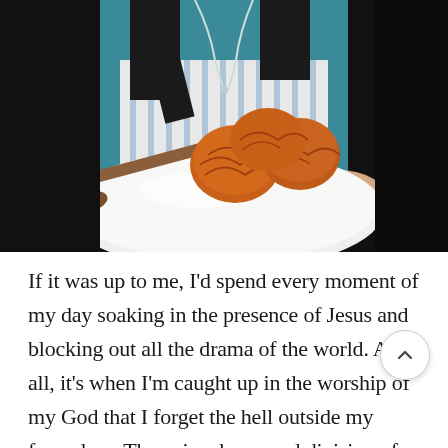[Figure (photo): A person wearing a teal/blue top and striped apron holding a white oval marble board or platter with golden-brown baked pastries (croissants or kouign-amann) and a wooden spatula/spoon. The background is dark.]
If it was up to me, I'd spend every moment of my day soaking in the presence of Jesus and blocking out all the drama of the world. After all, it's when I'm caught up in the worship of my God that I forget the hell outside my front door. The pain, chaos, and division of politics, human trafficking...